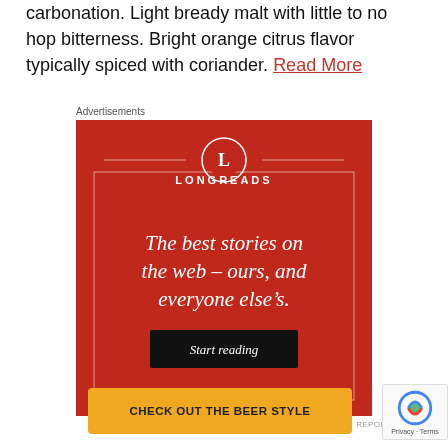carbonation. Light bready malt with little to no hop bitterness. Bright orange citrus flavor typically spiced with coriander. Read More
Advertisements
[Figure (other): Longreads advertisement banner with red background. Shows Longreads logo (circle with L), tagline 'The best stories on the web – ours, and everyone else's.' and a 'Start reading' button.]
REPORT THIS AD
CHECK OUT THE BEER STYLE